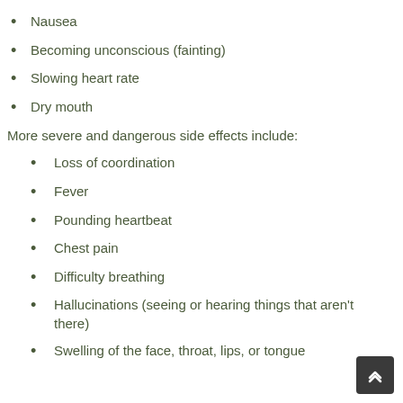Nausea
Becoming unconscious (fainting)
Slowing heart rate
Dry mouth
More severe and dangerous side effects include:
Loss of coordination
Fever
Pounding heartbeat
Chest pain
Difficulty breathing
Hallucinations (seeing or hearing things that aren't there)
Swelling of the face, throat, lips, or tongue